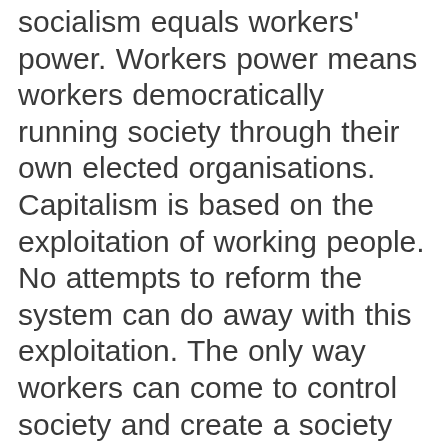socialism equals workers' power. Workers power means workers democratically running society through their own elected organisations. Capitalism is based on the exploitation of working people. No attempts to reform the system can do away with this exploitation. The only way workers can come to control society and create a society based on freedom and a decent life for all is through revolution. The state is an instrument of capitalist class rule. The present parliament, army, police and courts serve the interests of the capitalists. The working class cannot use the state to build socialism. The working class is an international class and socialism must be an worldwide system. We fight for solidarity with fellow-workers of all